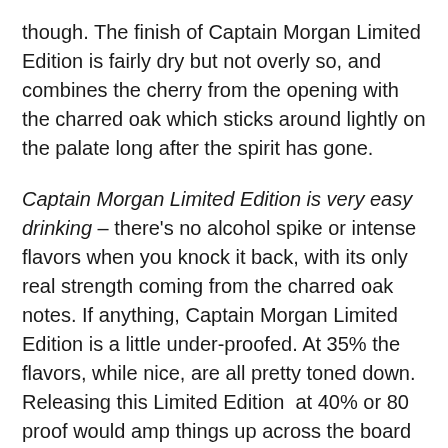though. The finish of Captain Morgan Limited Edition is fairly dry but not overly so, and combines the cherry from the opening with the charred oak which sticks around lightly on the palate long after the spirit has gone.
Captain Morgan Limited Edition is very easy drinking – there's no alcohol spike or intense flavors when you knock it back, with its only real strength coming from the charred oak notes. If anything, Captain Morgan Limited Edition is a little under-proofed. At 35% the flavors, while nice, are all pretty toned down. Releasing this Limited Edition  at 40% or 80 proof would amp things up across the board and make Captain Morgan Limited Edition much better for mixing. While you can make a solid Old Fashioned from Captain Morgan Limited Edition, it's not nearly as flavorful or complex a drink as with Captain Morgan Black. The limited edition does mix well with ginger beer and lime in a variation of the Dark 'n' Stormy but  it can quickly